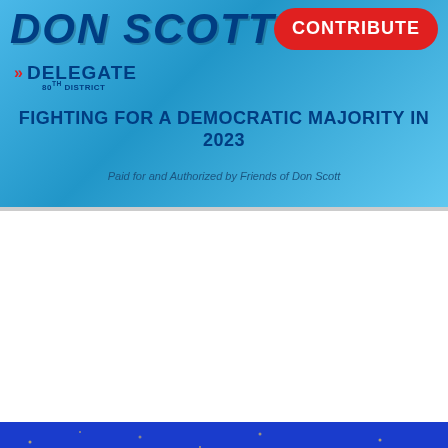[Figure (infographic): Don Scott Delegate political campaign advertisement banner. Blue background with 'DON SCOTT' in large dark blue bold italic uppercase text, 'DELEGATE 80th DISTRICT' below, a red 'CONTRIBUTE' button, bold text 'FIGHTING FOR A DEMOCRATIC MAJORITY IN 2023', and disclaimer 'Paid for and Authorized by Friends of Don Scott'.]
[Figure (infographic): 2022 Women's Summit event flyer. Dark blue starry background with colorful stylized 'Women's Summit' text. Event dates listed: Aug 12-13 Rural Valley (Waynesboro & Nellysford), Sept 16-18 Tidewater.]